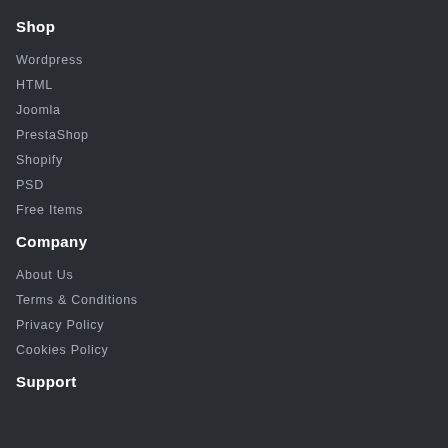Shop
Wordpress
HTML
Joomla
PrestaShop
Shopify
PSD
Free Items
Company
About Us
Terms & Conditions
Privacy Policy
Cookies Policy
Support